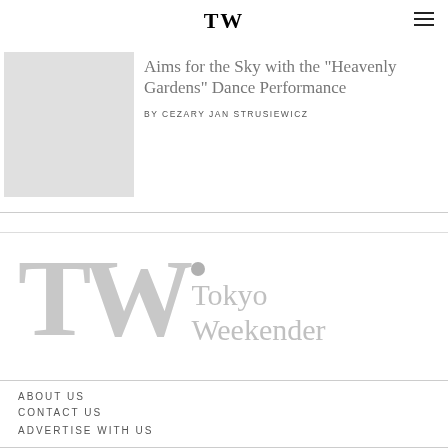TW
Aims for the Sky with the “Heavenly Gardens” Dance Performance
BY CEZARY JAN STRUSIEWICZ
[Figure (logo): Tokyo Weekender large watermark logo in light grey, showing TW letters and Tokyo Weekender text]
ABOUT US
CONTACT US
ADVERTISE WITH US